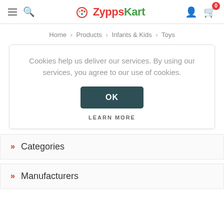ZyppsKart navigation header with hamburger menu, search, logo, user icon, and cart (0)
Home > Products > Infants & Kids > Toys
Cookies help us deliver our services. By using our services, you agree to our use of cookies.
OK
LEARN MORE
Categories
Manufacturers